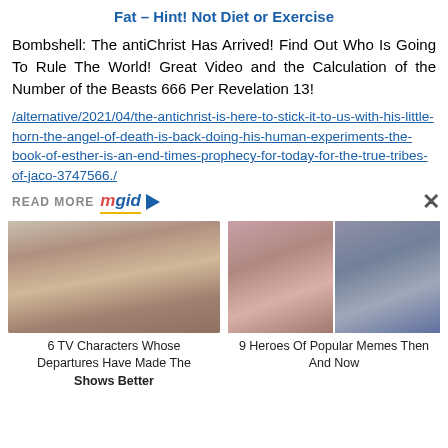Fat – Hint! Not Diet or Exercise
Bombshell: The antiChrist Has Arrived! Find Out Who Is Going To Rule The World! Great Video and the Calculation of the Number of the Beasts 666 Per Revelation 13!
/alternative/2021/04/the-antichrist-is-here-to-stick-it-to-us-with-his-little-horn-the-angel-of-death-is-back-doing-his-human-experiments-the-book-of-esther-is-an-end-times-prophecy-for-today-for-the-true-tribes-of-jaco-3747566./
READ MORE mgid
[Figure (photo): Woman with short hair looking sideways]
6 TV Characters Whose Departures Have Made The Shows Better
[Figure (photo): Two celebrities - one making peace sign, one holding flowers with unimpressed expression]
9 Heroes Of Popular Memes Then And Now